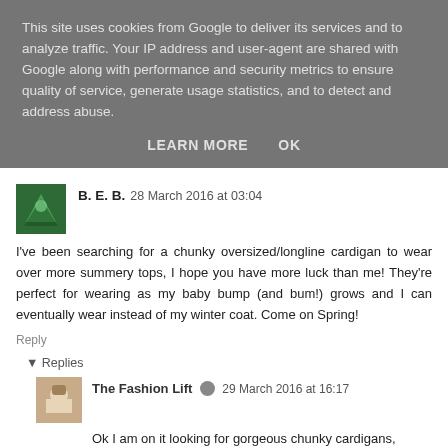This site uses cookies from Google to deliver its services and to analyze traffic. Your IP address and user-agent are shared with Google along with performance and security metrics to ensure quality of service, generate usage statistics, and to detect and address abuse.
LEARN MORE   OK
B. E. B.  28 March 2016 at 03:04
I've been searching for a chunky oversized/longline cardigan to wear over more summery tops, I hope you have more luck than me! They're perfect for wearing as my baby bump (and bum!) grows and I can eventually wear instead of my winter coat. Come on Spring!
Reply
▾ Replies
The Fashion Lift  29 March 2016 at 16:17
Ok I am on it looking for gorgeous chunky cardigans,